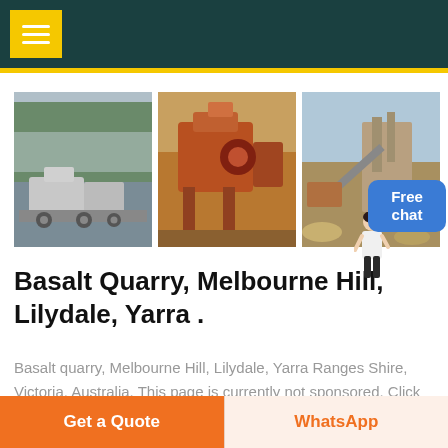[Figure (photo): Three photos of basalt quarry / mining crusher equipment operations]
Basalt Quarry, Melbourne Hill, Lilydale, Yarra .
Basalt quarry, Melbourne Hill, Lilydale, Yarra Ranges Shire, Victoria, Australia. This page is currently not sponsored. Click here to sponsor this page. Display Photos Maps Search. Standard Detailed By Strunz Category By Dana Category By Elements. Add